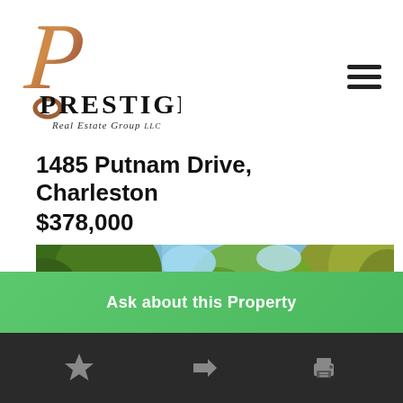[Figure (logo): Prestige Real Estate Group LLC logo with decorative 'P' letter in brown/copper italic script and bold serif text]
1485 Putnam Drive, Charleston
$378,000
[Figure (photo): Outdoor photo looking up at large green trees with blue sky visible in background]
Ask about this Property
[Figure (infographic): Bottom toolbar with three icons: star (bookmark), arrow (share), and printer icons in gray on dark background]